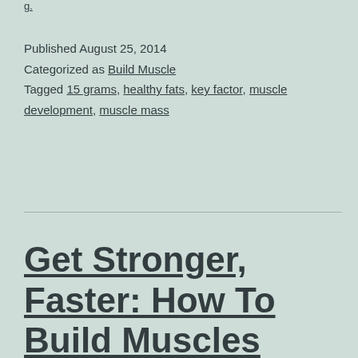Published August 25, 2014
Categorized as Build Muscle
Tagged 15 grams, healthy fats, key factor, muscle development, muscle mass
Get Stronger, Faster: How To Build Muscles